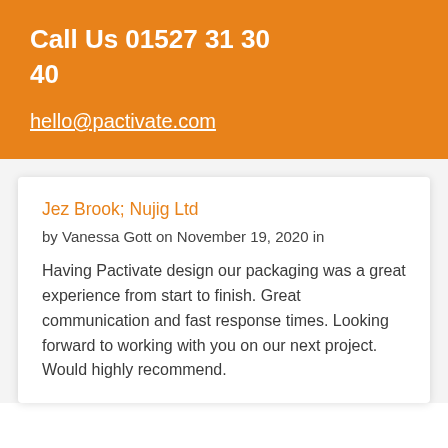Call Us 01527 31 30 40
hello@pactivate.com
Jez Brook; Nujig Ltd
by Vanessa Gott on November 19, 2020 in
Having Pactivate design our packaging was a great experience from start to finish. Great communication and fast response times. Looking forward to working with you on our next project. Would highly recommend.